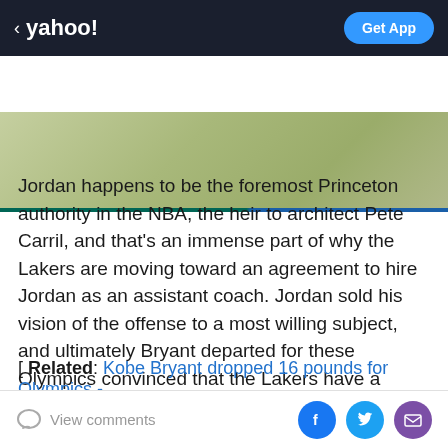< yahoo! | Get App
[Figure (other): Green/olive gradient banner advertisement area with a teal and blue horizontal stripe at the bottom]
Jordan happens to be the foremost Princeton authority in the NBA, the heir to architect Pete Carril, and that's an immense part of why the Lakers are moving toward an agreement to hire Jordan as an assistant coach. Jordan sold his vision of the offense to a most willing subject, and ultimately Bryant departed for these Olympics convinced that the Lakers have a sound plan of action for the 2012-13 season.
[ Related: Kobe Bryant dropped 16 pounds for Olympics -
View comments | Facebook | Twitter | Email